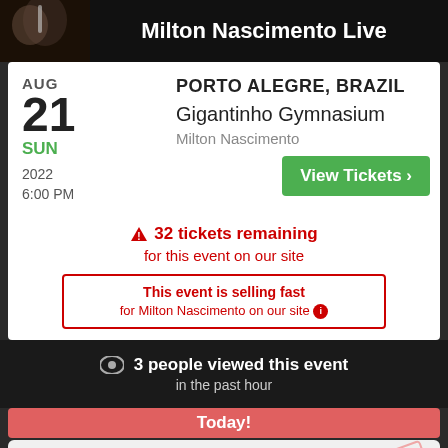Milton Nascimento Live
PORTO ALEGRE, BRAZIL
Gigantinho Gymnasium
Milton Nascimento
AUG
21
SUN
2022
6:00 PM
View Tickets ›
⚠ 32 tickets remaining
for this event on our site
This event is selling fast
for Milton Nascimento on our site ℹ
3 people viewed this event
in the past hour
Today!
PORTO ALEGRE, BRAZIL
Gigantinho Gymnasium
Milton Nascimento
AUG
21
SUN